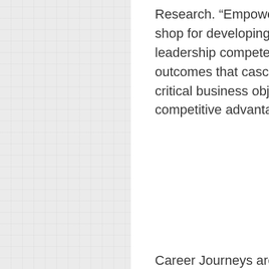Research. “Empowering organizations with a one-stop shop for developing mastery across technical and leadership competencies will deliver durable learning outcomes that cascade through the business, supporting critical business objectives and ultimately driving competitive advantage.”
Career Journeys are Skillsoft’s latest offering to help organizations address growing skills gaps and talent shortages through transformative learning experiences. In addition to Skill Benchmark Assessments, which provide critical visibility into current skills of employees so businesses can target, address, and close skill deficiencies, Skillsoft recently unveiled Learning Reinforcements, which enable learners to review and retain gained knowledge using flashcards on mobile devices.